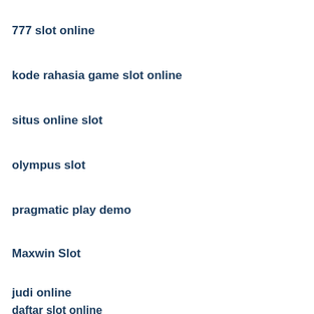777 slot online
kode rahasia game slot online
situs online slot
olympus slot
pragmatic play demo
Maxwin Slot
judi online
daftar slot online